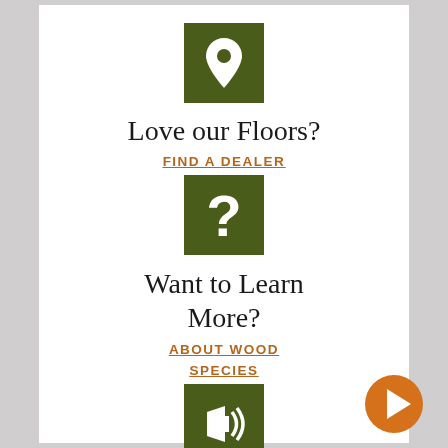[Figure (illustration): Dark olive green square icon with a white map pin/location marker symbol]
Love our Floors?
FIND A DEALER
[Figure (illustration): Dark olive green square icon with a white question mark symbol]
Want to Learn More?
ABOUT WOOD
SPECIES
[Figure (illustration): Dark olive green square icon with a white megaphone/speaker with sound waves symbol]
[Figure (illustration): Orange circle with a white right-pointing play arrow, navigation button at bottom right]